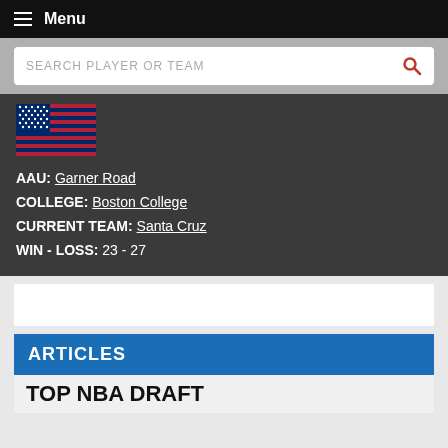Menu
SEARCH PLAYER OR TEAM
[Figure (illustration): US flag image]
AAU: Garner Road
COLLEGE: Boston College
CURRENT TEAM: Santa Cruz
WIN - LOSS: 23 - 27
ARTICLES
TOP NBA DRAFT